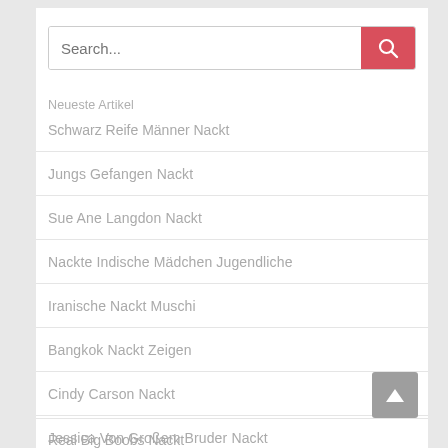[Figure (screenshot): Search bar with text placeholder 'Search...' and a red search button with magnifying glass icon]
Neueste Artikel
Schwarz Reife Männer Nackt
Jungs Gefangen Nackt
Sue Ane Langdon Nackt
Nackte Indische Mädchen Jugendliche
Iranische Nackt Muschi
Bangkok Nackt Zeigen
Cindy Carson Nackt
Jessica Von Großem Bruder Nackt
Real Big Boobs Nackt